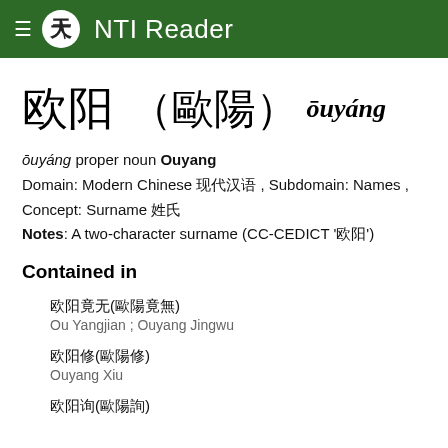NTI Reader
欧阳 (歐陽) ōuyáng
ōuyáng proper noun Ouyang
Domain: Modern Chinese 现代汉语 , Subdomain: Names ,
Concept: Surname 姓氏
Notes: A two-character surname (CC-CEDICT '欧阳')
Contained in
欧阳竟无(歐陽竟無)
Ou Yangjian ; Ouyang Jingwu
欧阳修(歐陽修)
Ouyang Xiu
欧阳询(歐陽詢)